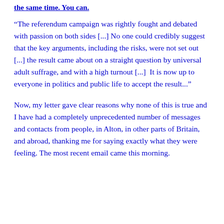the same time. You can.
“The referendum campaign was rightly fought and debated with passion on both sides [...] No one could credibly suggest that the key arguments, including the risks, were not set out [...] the result came about on a straight question by universal adult suffrage, and with a high turnout [...]  It is now up to everyone in politics and public life to accept the result...”
Now, my letter gave clear reasons why none of this is true and I have had a completely unprecedented number of messages and contacts from people, in Alton, in other parts of Britain, and abroad, thanking me for saying exactly what they were feeling. The most recent email came this morning.